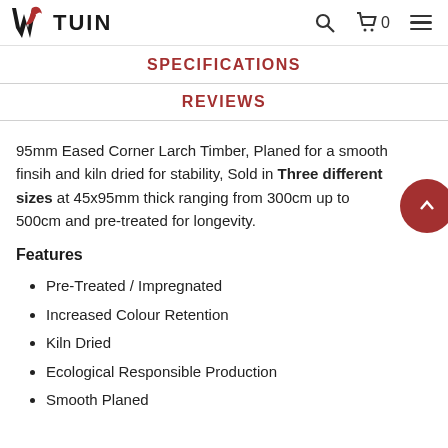TUIN
SPECIFICATIONS
REVIEWS
95mm Eased Corner Larch Timber, Planed for a smooth finsih and kiln dried for stability, Sold in Three different sizes at 45x95mm thick ranging from 300cm up to 500cm and pre-treated for longevity.
Features
Pre-Treated / Impregnated
Increased Colour Retention
Kiln Dried
Ecological Responsible Production
Smooth Planed